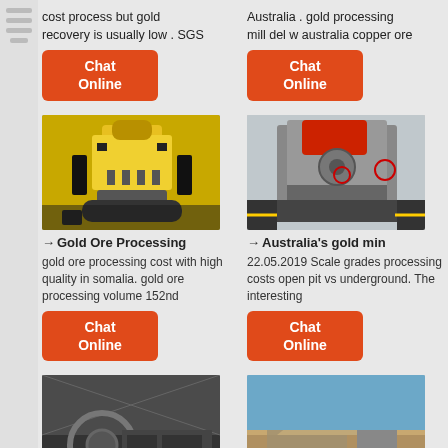cost process but gold recovery is usually low . SGS
Australia . gold processing mill del w australia copper ore
Chat Online
Chat Online
[Figure (photo): Yellow cone crusher machine in warehouse]
[Figure (photo): Gray industrial crusher machine in factory]
→Gold Ore Processing
→Australia's gold min
gold ore processing cost with high quality in somalia. gold ore processing volume 152nd
22.05.2019  Scale grades processing costs open pit vs underground. The interesting
Chat Online
Chat Online
[Figure (photo): Dark industrial ball mill interior]
[Figure (photo): Outdoor mining quarry with rock pile and processing plant]